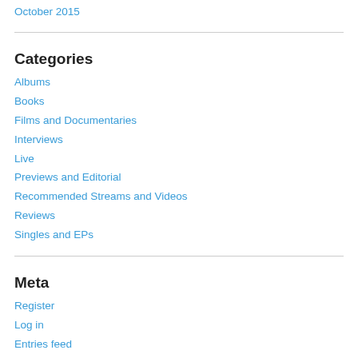October 2015
Categories
Albums
Books
Films and Documentaries
Interviews
Live
Previews and Editorial
Recommended Streams and Videos
Reviews
Singles and EPs
Meta
Register
Log in
Entries feed